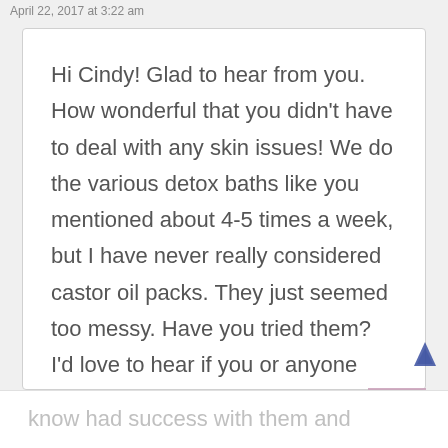April 22, 2017 at 3:22 am
Hi Cindy! Glad to hear from you. How wonderful that you didn't have to deal with any skin issues! We do the various detox baths like you mentioned about 4-5 times a week, but I have never really considered castor oil packs. They just seemed too messy. Have you tried them? I'd love to hear if you or anyone you
know had success with them and